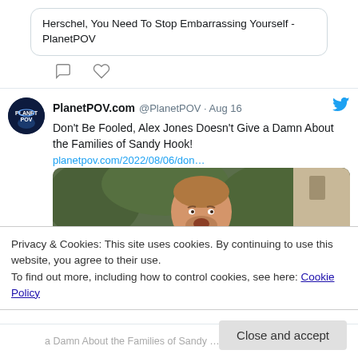Herschel, You Need To Stop Embarrassing Yourself - PlanetPOV
[Figure (screenshot): Twitter/X post by PlanetPOV.com (@PlanetPOV) dated Aug 16 with text: Don't Be Fooled, Alex Jones Doesn't Give a Damn About the Families of Sandy Hook! with link planetpov.com/2022/08/06/don… and an image of Alex Jones shouting]
Privacy & Cookies: This site uses cookies. By continuing to use this website, you agree to their use.
To find out more, including how to control cookies, see here: Cookie Policy
Close and accept
a Damn About the Families of Sandy …